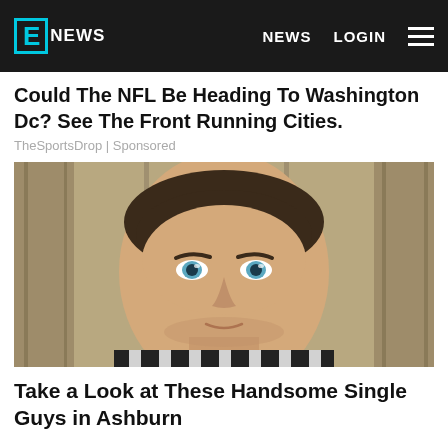E NEWS   NEWS   LOGIN
Could The NFL Be Heading To Washington Dc? See The Front Running Cities.
TheSportsDrop | Sponsored
[Figure (photo): Close-up portrait of a young man with short brown hair and blue eyes, wearing a black and white striped shirt, posed against wooden planks background.]
Take a Look at These Handsome Single Guys in Ashburn